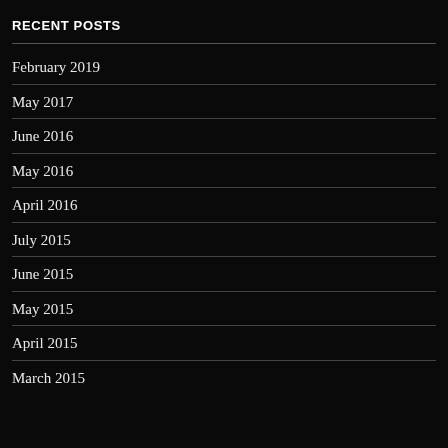RECENT POSTS
February 2019
May 2017
June 2016
May 2016
April 2016
July 2015
June 2015
May 2015
April 2015
March 2015